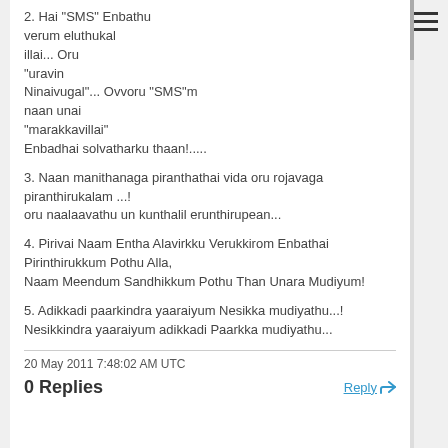2. Hai "SMS" Enbathu verum eluthukal illai... Oru "uravin Ninaivugal"... Ovvoru "SMS"m naan unai "marakkavillai" Enbadhai solvatharku thaan!.....
3. Naan manithanaga piranthathai vida oru rojavaga piranthirukalam ...!
oru naalaavathu un kunthalil erunthirupean...
4. Pirivai Naam Entha Alavirkku Verukkirom Enbathai Pirinthirukkum Pothu Alla,
Naam Meendum Sandhikkum Pothu Than Unara Mudiyum!
5. Adikkadi paarkindra yaaraiyum Nesikka mudiyathu...!
Nesikkindra yaaraiyum adikkadi Paarkka mudiyathu...
20 May 2011 7:48:02 AM UTC
0 Replies
Reply